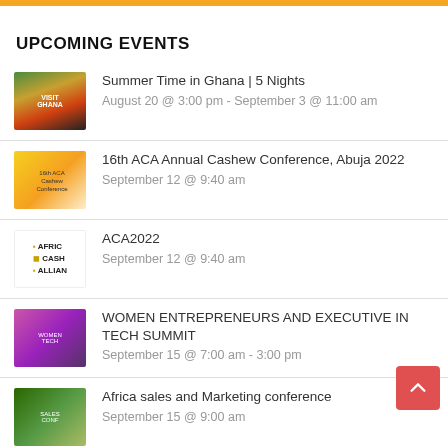UPCOMING EVENTS
Summer Time in Ghana | 5 Nights
August 20 @ 3:00 pm - September 3 @ 11:00 am
16th ACA Annual Cashew Conference, Abuja 2022
September 12 @ 9:40 am
ACA2022
September 12 @ 9:40 am
WOMEN ENTREPRENEURS AND EXECUTIVE IN TECH SUMMIT
September 15 @ 7:00 am - 3:00 pm
Africa sales and Marketing conference
September 15 @ 9:00 am